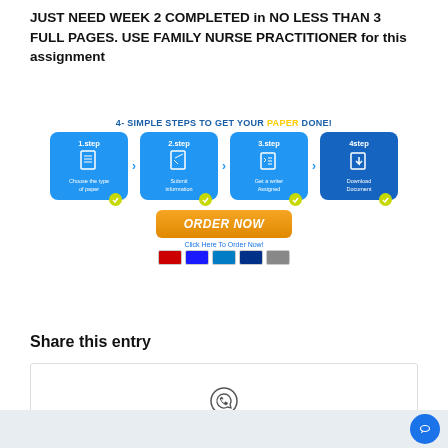JUST NEED WEEK 2 COMPLETED in NO LESS THAN 3 FULL PAGES. USE FAMILY NURSE PRACTITIONER for this assignment
[Figure (infographic): 4-Simple Steps to Get Your Paper Done infographic showing 4 blue step boxes (Choose type of paper, Submit information, Get a writer assigned, Download document) with arrows between them and an orange ORDER NOW button below with payment icons.]
Share this entry
[Figure (infographic): Share box with WhatsApp icon in the center]